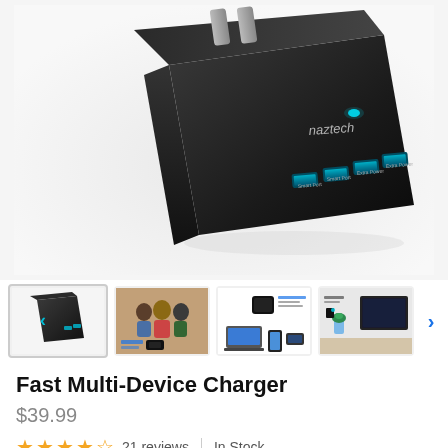[Figure (photo): Black Naztech Fast Multi-Device USB wall charger with 4 USB ports glowing teal/blue, plug visible at top, viewed from an angled perspective on light gray background]
[Figure (photo): Row of 4 product thumbnail images: 1) charger alone, 2) lifestyle image with family and charger, 3) charger with multiple devices, 4) charger in room setting with TV]
Fast Multi-Device Charger
$39.99
21 reviews   |   In Stock